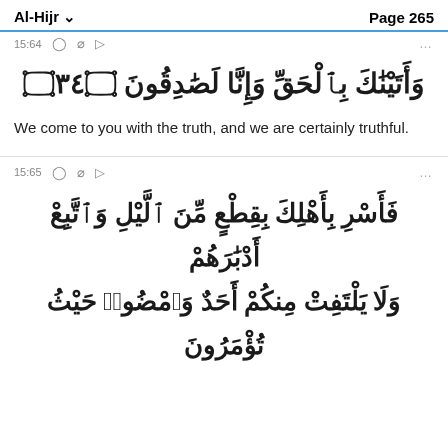Al-Hijr  Page 265
15:64
وَأَتَيْنَٰكَ بِٱلْحَقِّ وَإِنَّا لَصَٰدِقُونَ ٦٤
We come to you with the truth, and we are certainly truthful.
15:65
فَأَسْرِ بِأَهْلِكَ بِقِطْعٍ مِّنَ ٱلَّيْلِ وَٱتَّبِعْ أَدْبَٰرَهُمْ وَلَا يَلْتَفِتْ مِنكُمْ أَحَدٌ وَٱمْضُوا۟ حَيْثُ تُؤْمَرُونَ